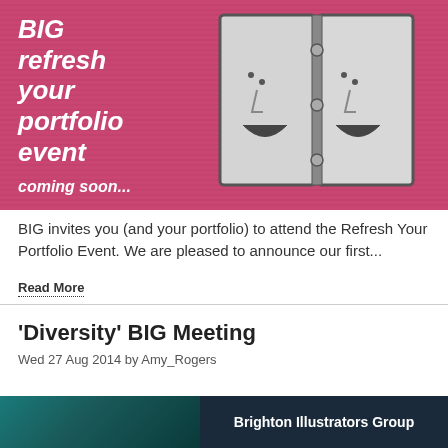[Figure (illustration): Pink/magenta banner with horizontal stripe texture. White bold italic text reads 'BIG refresh your portfolio event' on the left. An illustration of an open portfolio/book with a smiley face on the right. Text 'coming soon...' at the bottom left.]
BIG invites you (and your portfolio) to attend the Refresh Your Portfolio Event. We are pleased to announce our first...
Read More
'Diversity' BIG Meeting
Wed 27 Aug 2014 by Amy_Rogers
[Figure (illustration): Bottom banner partially visible. Left half shows a teal/dark photo. Right half shows dark navy background with white bold text 'Brighton Illustrators Group'.]